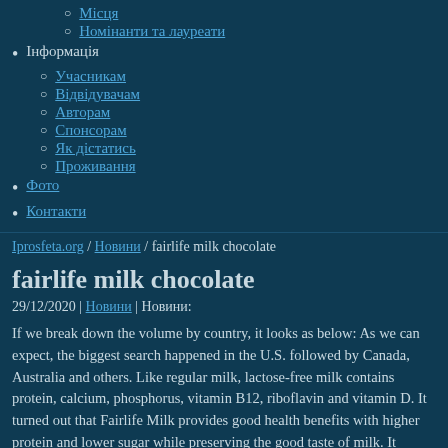Місця
Номінанти та лауреати
Інформація
Учасникам
Відвідувачам
Авторам
Спонсорам
Як дістатись
Проживання
Фото
Контакти
Iprosfeta.org / Новини / fairlife milk chocolate
fairlife milk chocolate
29/12/2020 | Новини | Новини:
If we break down the volume by country, it looks as below: As we can expect, the biggest search happened in the U.S. followed by Canada, Australia and others. Like regular milk, lactose-free milk contains protein, calcium, phosphorus, vitamin B12, riboflavin and vitamin D. It turned out that Fairlife Milk provides good health benefits with higher protein and lower sugar while preserving the good taste of milk. It comes in 52oz, 11.5oz, or 8oz in 6-pack.